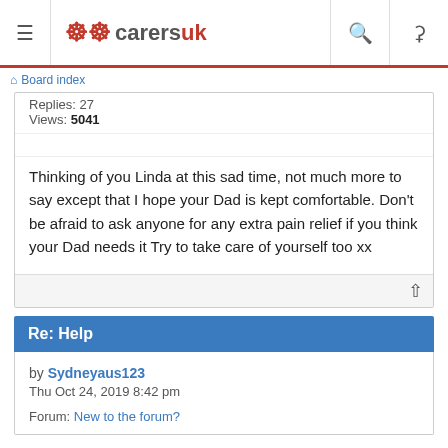CarersUK — Board index
Board index
Replies: 27
Views: 5041
Thinking of you Linda at this sad time, not much more to say except that I hope your Dad is kept comfortable. Don't be afraid to ask anyone for any extra pain relief if you think your Dad needs it Try to take care of yourself too xx
Re: Help
by Sydneyaus123
Thu Oct 24, 2019 8:42 pm

Forum: New to the forum?